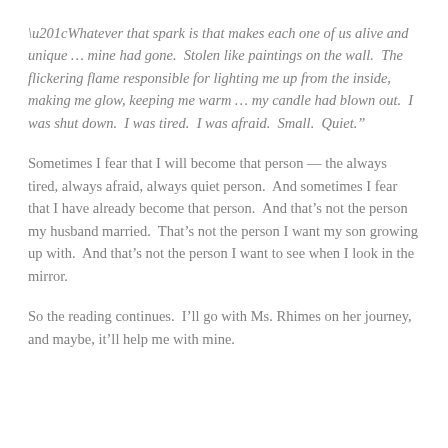“Whatever that spark is that makes each one of us alive and unique … mine had gone.  Stolen like paintings on the wall.  The flickering flame responsible for lighting me up from the inside, making me glow, keeping me warm … my candle had blown out.  I was shut down.  I was tired.  I was afraid.  Small.  Quiet.”
Sometimes I fear that I will become that person — the always tired, always afraid, always quiet person.  And sometimes I fear that I have already become that person.  And that’s not the person my husband married.  That’s not the person I want my son growing up with.  And that’s not the person I want to see when I look in the mirror.
So the reading continues.  I’ll go with Ms. Rhimes on her journey, and maybe, it’ll help me with mine.